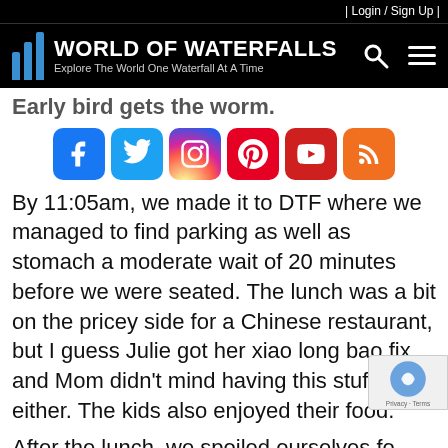| Login / Sign Up |
[Figure (logo): World of Waterfalls logo with blue bar chart icon and tagline 'Explore The World One Waterfall At A Time']
Early bird gets the worm.
[Figure (infographic): Social media icon buttons: Facebook, Twitter, Instagram, Pinterest, YouTube, RSS]
By 11:05am, we made it to DTF where we managed to find parking as well as stomach a moderate wait of 20 minutes before we were seated. The lunch was a bit on the pricey side for a Chinese restaurant, but I guess Julie got her xiao long bao fix, and Mom didn't mind having this stuff either. The kids also enjoyed their food.
After the lunch, we spoiled ourselves fo...